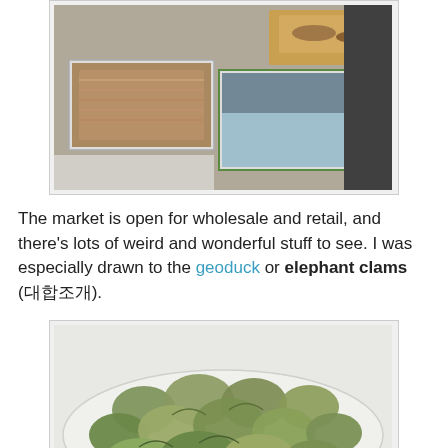[Figure (photo): Photo of fish market bins with seafood and containers including a cutting board with items on it]
The market is open for wholesale and retail, and there's lots of weird and wonderful stuff to see. I was especially drawn to the geoduck or elephant clams (대합조개).
[Figure (photo): Photo of geoduck or elephant clams piled on a white plate/surface]